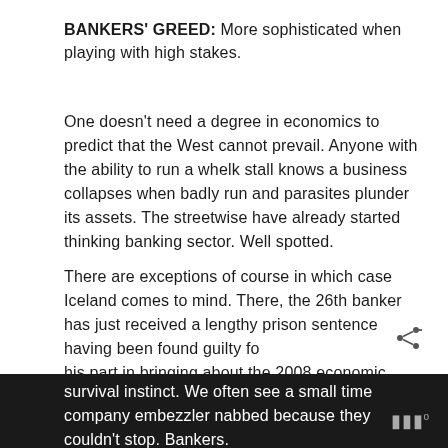BANKERS' GREED: More sophisticated when playing with high stakes.
One doesn't need a degree in economics to predict that the West cannot prevail. Anyone with the ability to run a whelk stall knows a business collapses when badly run and parasites plunder its assets. The streetwise have already started thinking banking sector. Well spotted.
There are exceptions of course in which case Iceland comes to mind. There, the 26th banker has just received a lengthy prison sentence having been found guilty for his part in bringing about the 2008 economic collapse.
Greed is often a far more powerful drug than the survival instinct. We often see a small time company embezzler nabbed because they couldn't stop. Bankers.